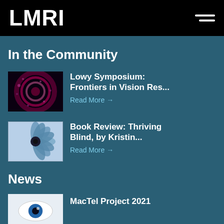LMRI
In the Community
[Figure (photo): Abstract close-up image of a retina or eye with purple and pink circular light patterns on dark background]
Lowy Symposium: Frontiers in Vision Res...
Read More →
[Figure (photo): Close-up macro photo of a flower or eye structure with blue petals radiating from center, resembling an iris]
Book Review: Thriving Blind, by Kristin...
Read More →
News
[Figure (photo): Close-up of an illustrated or medical eye graphic with blue iris on white background]
MacTel Project 2021